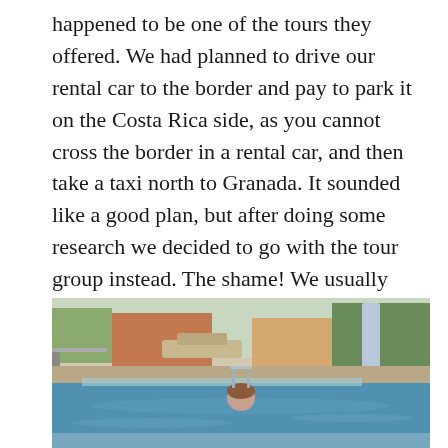happened to be one of the tours they offered. We had planned to drive our rental car to the border and pay to park it on the Costa Rica side, as you cannot cross the border in a rental car, and then take a taxi north to Granada. It sounded like a good plan, but after doing some research we decided to go with the tour group instead. The shame! We usually stick to independent travel, but I will explain why this was a better option in a later blog post. We finished the orientation without even being asked to buy a timeshare there, which was odd for an RCI resort, but good nonetheless.
[Figure (photo): Outdoor resort swimming pool with a person visible in the water. Background shows resort buildings, trees, stone benches, a fountain or water feature, and blue sky. Pool deck visible with railings.]